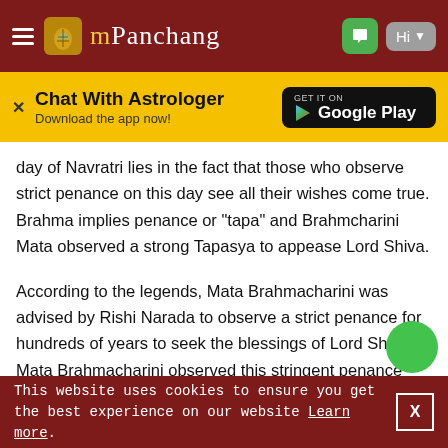mPanchang
Chat With Astrologer
Download the app now!
day of Navratri lies in the fact that those who observe strict penance on this day see all their wishes come true. Brahma implies penance or "tapa" and Brahmcharini Mata observed a strong Tapasya to appease Lord Shiva.
According to the legends, Mata Brahmacharini was advised by Rishi Narada to observe a strict penance for hundreds of years to seek the blessings of Lord Shiva. Mata Brahmacharini observed this stringent penance abstaining from water and food for so many years till she was finally blessed by Lord Shiva to be his divine consort. In simple terms, observing hard penance on
This website uses cookies to ensure you get the best experience on our website Learn more.